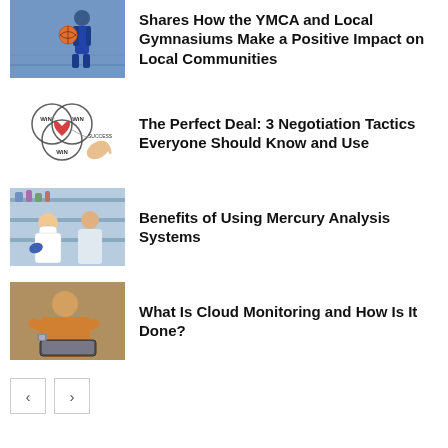[Figure (photo): Person holding a basketball in a gym/sports court setting]
Shares How the YMCA and Local Gymnasiums Make a Positive Impact on Local Communities
[Figure (illustration): Venn diagram with three circles labeled WIN, WIN, WIN and SUCCESS in the center, with a hand drawing]
The Perfect Deal: 3 Negotiation Tactics Everyone Should Know and Use
[Figure (photo): Person in lab coat and gloves working in a pharmacy or lab setting]
Benefits of Using Mercury Analysis Systems
[Figure (photo): Person in orange sweater working on a laptop]
What Is Cloud Monitoring and How Is It Done?